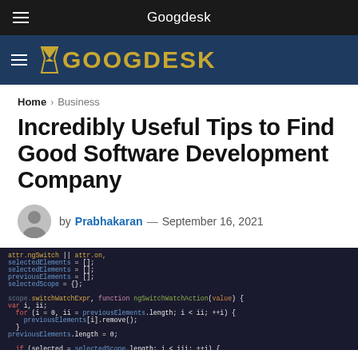Googdesk
[Figure (logo): Googdesk logo with hourglass icon on dark blue background]
Home > Business
Incredibly Useful Tips to Find Good Software Development Company
by Prabhakaran — September 16, 2021
[Figure (photo): Close-up photo of a computer monitor displaying colorful code including JavaScript with syntax highlighting on dark background]